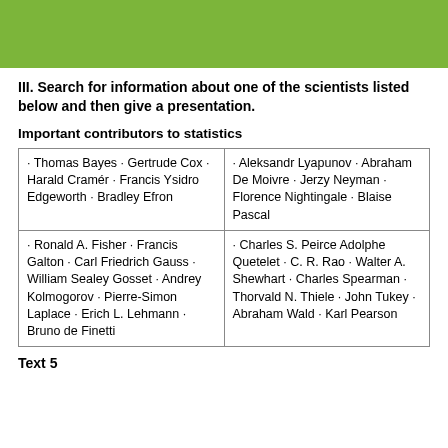[Figure (other): Green header banner at top of page]
III. Search for information about one of the scientists listed below and then give a presentation.
Important contributors to statistics
| · Thomas Bayes · Gertrude Cox · Harald Cramér · Francis Ysidro Edgeworth · Bradley Efron | · Aleksandr Lyapunov · Abraham De Moivre · Jerzy Neyman · Florence Nightingale · Blaise Pascal |
| · Ronald A. Fisher · Francis Galton · Carl Friedrich Gauss · William Sealey Gosset · Andrey Kolmogorov · Pierre-Simon Laplace · Erich L. Lehmann · Bruno de Finetti | · Charles S. Peirce Adolphe Quetelet · C. R. Rao · Walter A. Shewhart · Charles Spearman · Thorvald N. Thiele · John Tukey · Abraham Wald · Karl Pearson |
Text 5